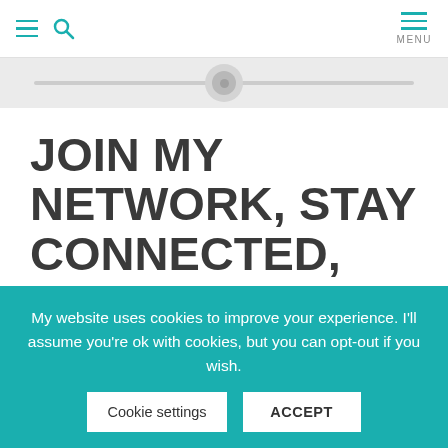≡ 🔍  MENU
[Figure (screenshot): Horizontal scroll bar with circular thumb indicator]
JOIN MY NETWORK, STAY CONNECTED, GET IN TOUCH!
JOIN MY NETWORK!
My website uses cookies to improve your experience. I'll assume you're ok with cookies, but you can opt-out if you wish.
Cookie settings
ACCEPT